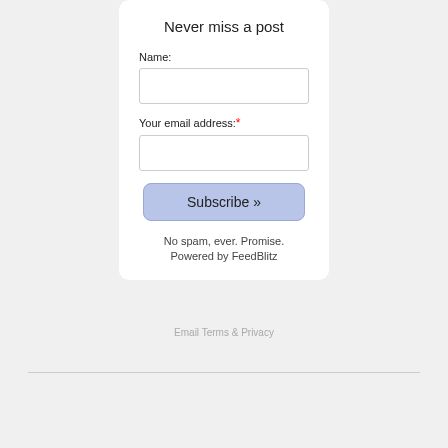Never miss a post
Name:
Your email address:*
Subscribe »
No spam, ever. Promise.
Powered by FeedBlitz
Email Terms & Privacy